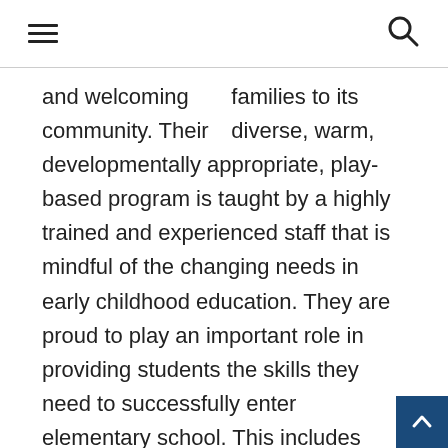navigation bar with hamburger menu and search icon
families to its diverse, warm, and welcoming community. Their developmentally appropriate, play-based program is taught by a highly trained and experienced staff that is mindful of the changing needs in early childhood education. They are proud to play an important role in providing students the skills they need to successfully enter elementary school. This includes being socially confident, emotionally resilient, and intellectually curious.

EEC seeks to understand and nurture each child as an individu…